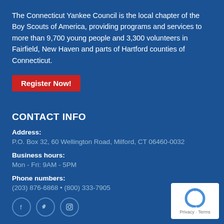The Connecticut Yankee Council is the local chapter of the Boy Scouts of America, providing programs and services to more than 9,700 young people and 3,300 volunteers in Fairfield, New Haven and parts of Hartford counties of Connecticut.
Register Now!
CONTACT INFO
Address:
P.O. Box 32, 60 Wellington Road, Milford, CT 06460-0032
Business hours:
Mon - Fri: 9AM - 5PM
Phone numbers:
(203) 876-6868 • (800) 333-7905
[Figure (other): Social media icons: Facebook, Twitter, Instagram circles]